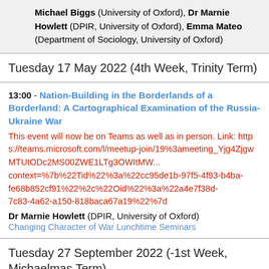Michael Biggs (University of Oxford), Dr Marnie Howlett (DPIR, University of Oxford), Emma Mateo (Department of Sociology, University of Oxford)
Tuesday 17 May 2022 (4th Week, Trinity Term)
13:00 - Nation-Building in the Borderlands of a Borderland: A Cartographical Examination of the Russia-Ukraine War
This event will now be on Teams as well as in person. Link: https://teams.microsoft.com/l/meetup-join/19%3ameeting_Yjg4ZjgwMTUtODc2MS00ZWE1LTg3OWItMW...context=%7b%22Tid%22%3a%22cc95de1b-97f5-4f93-b4ba-fe68b852cf91%22%2c%22Oid%22%3a%22a4e7f38d-7c83-4a62-a150-818baca67a19%22%7d
Dr Marnie Howlett (DPIR, University of Oxford)
Changing Character of War Lunchtime Seminars
Tuesday 27 September 2022 (-1st Week, Michaelmas Term)